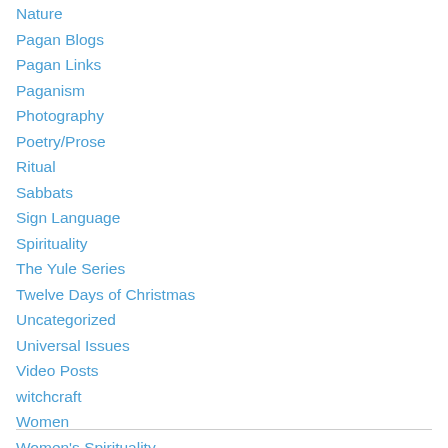Nature
Pagan Blogs
Pagan Links
Paganism
Photography
Poetry/Prose
Ritual
Sabbats
Sign Language
Spirituality
The Yule Series
Twelve Days of Christmas
Uncategorized
Universal Issues
Video Posts
witchcraft
Women
Women's Spirituality